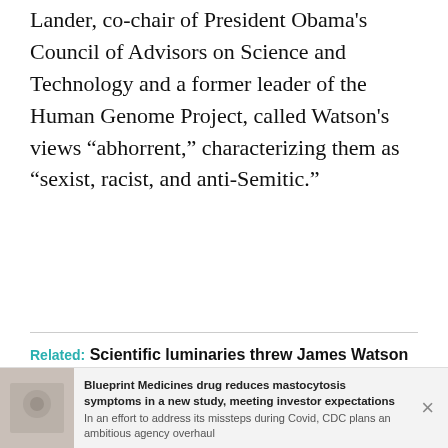Lander, co-chair of President Obama's Council of Advisors on Science and Technology and a former leader of the Human Genome Project, called Watson's views “abhorrent,” characterizing them as “sexist, racist, and anti-Semitic.”
Related: Scientific luminaries threw James Watson a birthday party weeks before Eric Lander’s widely criticized toast
Watson has long been vilified for the work that made him a scientific icon: discovering the double helical structure of DNA. That discovery
Blueprint Medicines drug reduces mastocytosis symptoms in a new study, meeting investor expectations
In an effort to address its missteps during Covid, CDC plans an ambitious agency overhaul